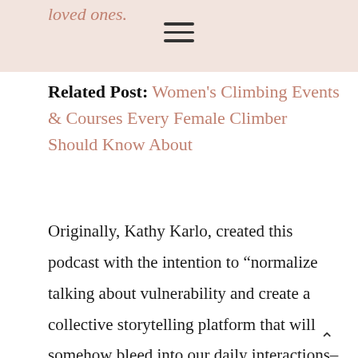loved ones.
Related Post: Women's Climbing Events & Courses Every Female Climber Should Know About
Originally, Kathy Karlo, created this podcast with the intention to “normalize talking about vulnerability and create a collective storytelling platform that will somehow bleed into our daily interactions–and maybe the world will be